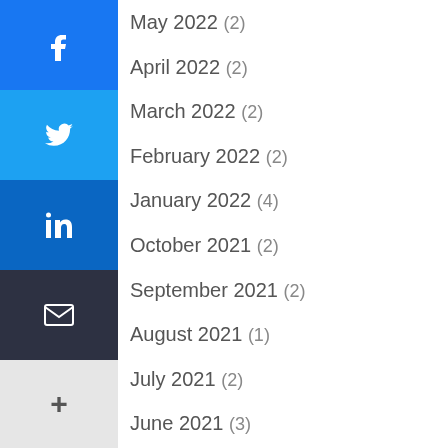[Figure (other): Social media sharing sidebar with Facebook, Twitter, LinkedIn, Email, and more (+) buttons stacked vertically on the left edge]
May 2022 (2)
April 2022 (2)
March 2022 (2)
February 2022 (2)
January 2022 (4)
October 2021 (2)
September 2021 (2)
August 2021 (1)
July 2021 (2)
June 2021 (3)
May 2021 (1)
April 2021 (3)